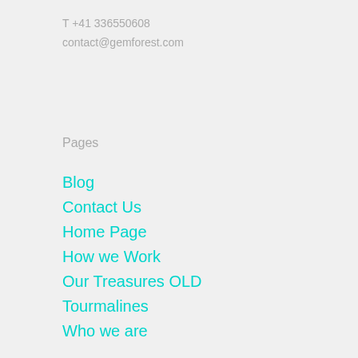T +41 336550608
contact@gemforest.com
Pages
Blog
Contact Us
Home Page
How we Work
Our Treasures OLD
Tourmalines
Who we are